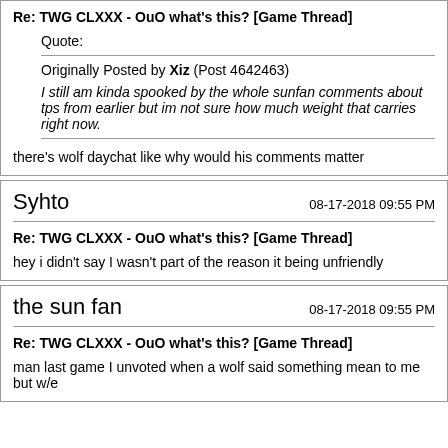Re: TWG CLXXX - OuO what's this? [Game Thread]
Quote:
Originally Posted by Xiz (Post 4642463)
I still am kinda spooked by the whole sunfan comments about tps from earlier but im not sure how much weight that carries right now.
there's wolf daychat like why would his comments matter
Syhto
08-17-2018 09:55 PM
Re: TWG CLXXX - OuO what's this? [Game Thread]
hey i didn't say I wasn't part of the reason it being unfriendly
the sun fan
08-17-2018 09:55 PM
Re: TWG CLXXX - OuO what's this? [Game Thread]
man last game I unvoted when a wolf said something mean to me but w/e